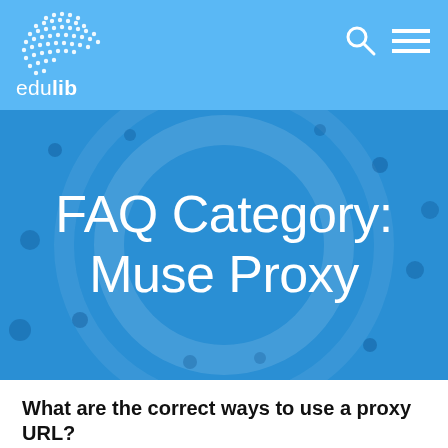edulib
[Figure (logo): Edulib logo with white dot-matrix globe icon and text 'edulib' in white sans-serif]
FAQ Category: Muse Proxy
What are the correct ways to use a proxy URL?
The correct ways to use a proxy URL are listed below: 1) By source ID: